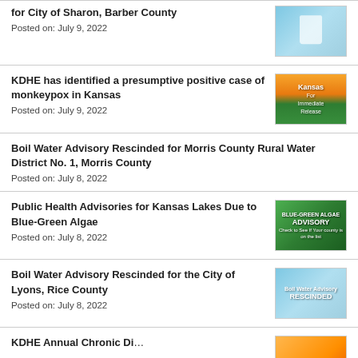for City of Sharon, Barber County
Posted on: July 9, 2022
KDHE has identified a presumptive positive case of monkeypox in Kansas
Posted on: July 9, 2022
Boil Water Advisory Rescinded for Morris County Rural Water District No. 1, Morris County
Posted on: July 8, 2022
Public Health Advisories for Kansas Lakes Due to Blue-Green Algae
Posted on: July 8, 2022
Boil Water Advisory Rescinded for the City of Lyons, Rice County
Posted on: July 8, 2022
KDHE Annual Chronic Di...